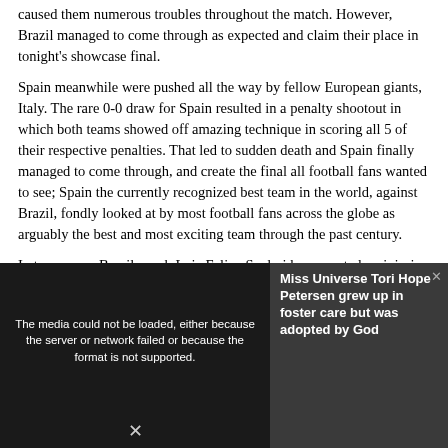caused them numerous troubles throughout the match. However, Brazil managed to come through as expected and claim their place in tonight's showcase final.
Spain meanwhile were pushed all the way by fellow European giants, Italy. The rare 0-0 draw for Spain resulted in a penalty shootout in which both teams showed off amazing technique in scoring all 5 of their respective penalties. That led to sudden death and Spain finally managed to come through, and create the final all football fans wanted to see; Spain the currently recognized best team in the world, against Brazil, fondly looked at by most football fans across the globe as arguably the best and most exciting team through the past century.
In team news Brazil coach Luiz Felipe Scolari has reported no injuries following victory their against Uruguay, and could name an unchanged side for the final.
However, some have suggested that Hulk, who has failed to score
[Figure (screenshot): Media player overlay showing error message 'The media could not be loaded, either because the server or network failed or because the format is not supported.' with a dark background and a person visible. On the right side is an ad panel for 'Miss Universe Tori Hope Petersen grew up in foster care but was adopted by God'.]